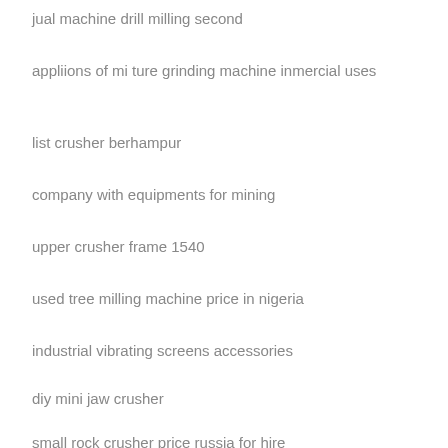jual machine drill milling second
appliions of mi ture grinding machine inmercial uses
list crusher berhampur
company with equipments for mining
upper crusher frame 1540
used tree milling machine price in nigeria
industrial vibrating screens accessories
diy mini jaw crusher
small rock crusher price russia for hire